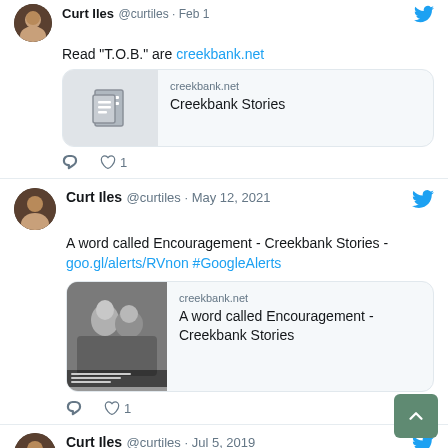[Figure (screenshot): Twitter/X feed screenshot showing tweets by Curt Iles (@curtiles)]
Curt Iles @curtiles · Feb 1
Read "T.O.B." are creekbank.net
creekbank.net
Creekbank Stories
♡ 1
Curt Iles @curtiles · May 12, 2021
A word called Encouragement - Creekbank Stories - goo.gl/alerts/RVnon #GoogleAlerts
creekbank.net
A word called Encouragement - Creekbank Stories
♡ 1
Curt Iles @curtiles · Jul 5, 2019